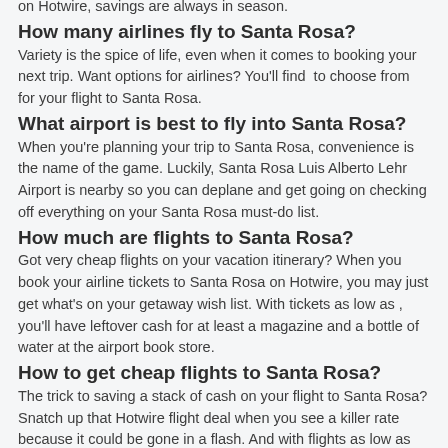on Hotwire, savings are always in season.
How many airlines fly to Santa Rosa?
Variety is the spice of life, even when it comes to booking your next trip. Want options for airlines? You'll find  to choose from for your flight to Santa Rosa.
What airport is best to fly into Santa Rosa?
When you're planning your trip to Santa Rosa, convenience is the name of the game. Luckily, Santa Rosa Luis Alberto Lehr Airport is nearby so you can deplane and get going on checking off everything on your Santa Rosa must-do list.
How much are flights to Santa Rosa?
Got very cheap flights on your vacation itinerary? When you book your airline tickets to Santa Rosa on Hotwire, you may just get what's on your getaway wish list. With tickets as low as , you'll have leftover cash for at least a magazine and a bottle of water at the airport book store.
How to get cheap flights to Santa Rosa?
The trick to saving a stack of cash on your flight to Santa Rosa? Snatch up that Hotwire flight deal when you see a killer rate because it could be gone in a flash. And with flights as low as  right now, why wait?
Can I fly to Santa Rosa right now?
With recent COVID-19 closures and reopenings, many people are wondering, "Is it safe to travel to  right now?" When it's time